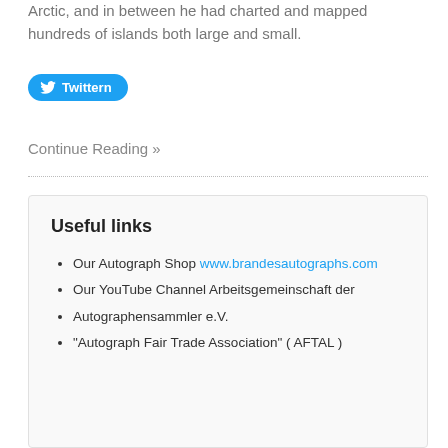Arctic, and in between he had charted and mapped hundreds of islands both large and small.
[Figure (other): Twitter share button with bird icon labeled 'Twittern']
Continue Reading »
Useful links
Our Autograph Shop www.brandesautographs.com
Our YouTube Channel Arbeitsgemeinschaft der
Autographensammler e.V.
"Autograph Fair Trade Association" ( AFTAL )